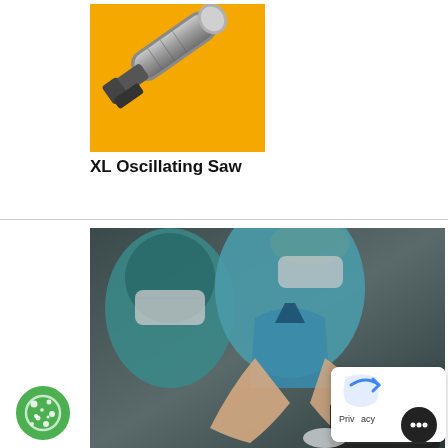[Figure (photo): Close-up photo of a metallic surgical oscillating saw on a yellow background]
XL Oscillating Saw
[Figure (photo): Two surgeons in blue scrubs and surgical masks working with medical equipment in an operating room setting]